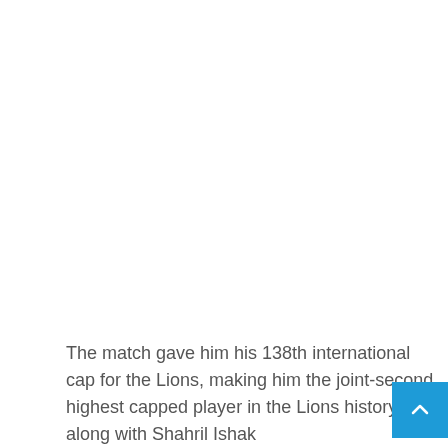The match gave him his 138th international cap for the Lions, making him the joint-second highest capped player in the Lions history, along with Shahril Ishak